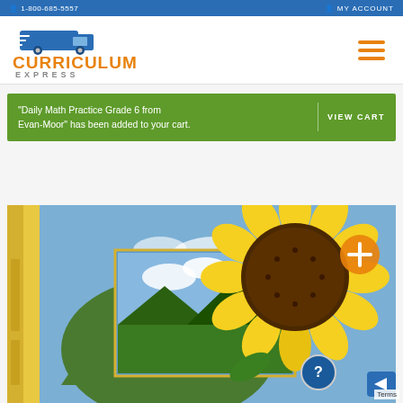1-800-685-5557   MY ACCOUNT
[Figure (logo): Curriculum Express logo with delivery truck icon, orange CURRICULUM text and grey EXPRESS text below]
"Daily Math Practice Grade 6 from Evan-Moor" has been added to your cart.   VIEW CART
[Figure (photo): Product image showing a sunflower close-up against a blue sky, with a mountain landscape scene and product book spines visible on the left side. An orange circle with plus sign icon is in the upper right.]